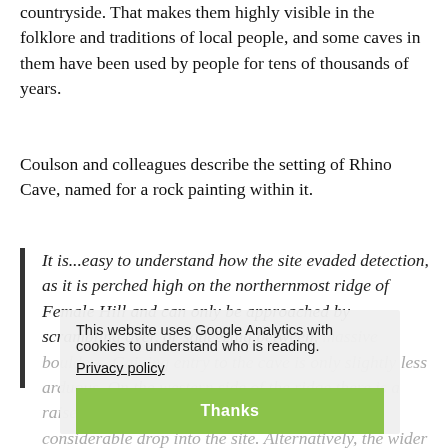countryside. That makes them highly visible in the folklore and traditions of local people, and some caves in them have been used by people for tens of thousands of years.
Coulson and colleagues describe the setting of Rhino Cave, named for a rock painting within it.
It is...easy to understand how the site evaded detection, as it is perched high on the northernmost ridge of Female Hill and can only be approached by scrambling over, or squeezing between, massive boulders. Gaining entry to the cave is only slightly less arduous. On the western side of the ridge there is a raised, narrow, crawl space that ends with a considerable drop into the site. Alternatively, the wider eastern entrance offers two options: a two-meter jump or a slide down a steep boulder face, followed by a scramble over a rock-strewn opening near the present day floor.